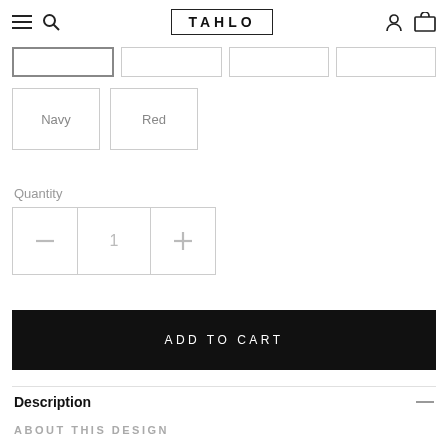TAHLO
[Figure (screenshot): Size selector buttons row (4 boxes, first selected)]
[Figure (screenshot): Color selector buttons: Navy (selected), Red]
Quantity
[Figure (screenshot): Quantity selector with minus, 1, plus buttons]
ADD TO CART
Description
ABOUT THIS DESIGN